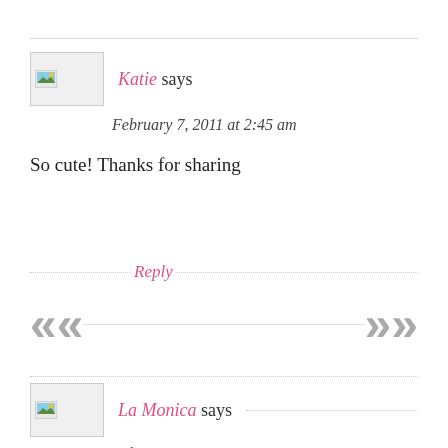Katie says
February 7, 2011 at 2:45 am
So cute! Thanks for sharing
Reply
[Figure (illustration): Navigation arrows: double left chevron and double right chevron in gray]
La Monica says
February 7, 2011 at 6:20 pm
I found your link on No Time for Flashcards. Love this and I'll be using them this week! Thank you so much for sharing!